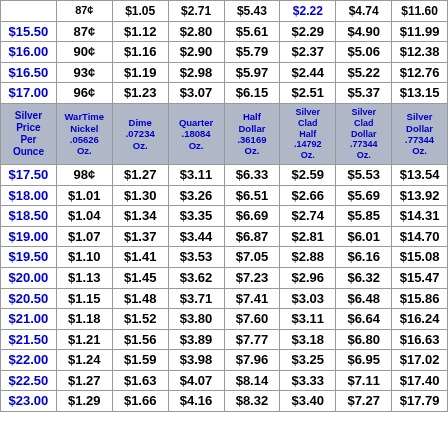| Silver Price Per Ounce | WarTime Nickel .05626 Oz. | Dime .07234 Oz. | Quarter .18084 Oz. | Half Dollar .36169 Oz. | Silver Clad Half .14792 .3161 Oz. | Silver Clad Dollar .77344 Oz. | Silver Dollar .77344 Oz. |
| --- | --- | --- | --- | --- | --- | --- | --- |
| $15.50 | 87¢ | $1.12 | $2.80 | $5.61 | $2.29 | $4.90 | $11.99 |
| $16.00 | 90¢ | $1.16 | $2.90 | $5.79 | $2.37 | $5.06 | $12.38 |
| $16.50 | 93¢ | $1.19 | $2.98 | $5.97 | $2.44 | $5.22 | $12.76 |
| $17.00 | 96¢ | $1.23 | $3.07 | $6.15 | $2.51 | $5.37 | $13.15 |
| $17.50 | 98¢ | $1.27 | $3.11 | $6.33 | $2.59 | $5.53 | $13.54 |
| $18.00 | $1.01 | $1.30 | $3.26 | $6.51 | $2.66 | $5.69 | $13.92 |
| $18.50 | $1.04 | $1.34 | $3.35 | $6.69 | $2.74 | $5.85 | $14.31 |
| $19.00 | $1.07 | $1.37 | $3.44 | $6.87 | $2.81 | $6.01 | $14.70 |
| $19.50 | $1.10 | $1.41 | $3.53 | $7.05 | $2.88 | $6.16 | $15.08 |
| $20.00 | $1.13 | $1.45 | $3.62 | $7.23 | $2.96 | $6.32 | $15.47 |
| $20.50 | $1.15 | $1.48 | $3.71 | $7.41 | $3.03 | $6.48 | $15.86 |
| $21.00 | $1.18 | $1.52 | $3.80 | $7.60 | $3.11 | $6.64 | $16.24 |
| $21.50 | $1.21 | $1.56 | $3.89 | $7.77 | $3.18 | $6.80 | $16.63 |
| $22.00 | $1.24 | $1.59 | $3.98 | $7.96 | $3.25 | $6.95 | $17.02 |
| $22.50 | $1.27 | $1.63 | $4.07 | $8.14 | $3.33 | $7.11 | $17.40 |
| $23.00 | $1.29 | $1.66 | $4.16 | $8.32 | $3.40 | $7.27 | $17.79 |